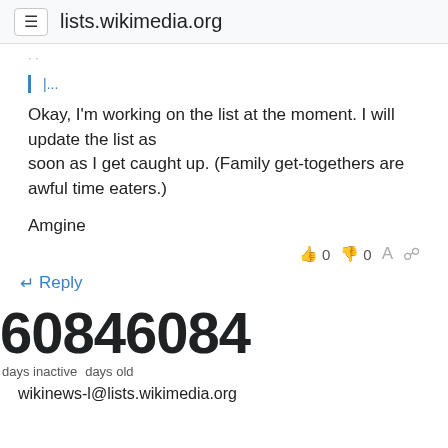lists.wikimedia.org
...
Okay, I'm working on the list at the moment. I will update the list as
soon as I get caught up. (Family get-togethers are awful time eaters.)

Amgine
👍 0  👎 0
Reply
60846084
days inactive  days old
wikinews-l@lists.wikimedia.org